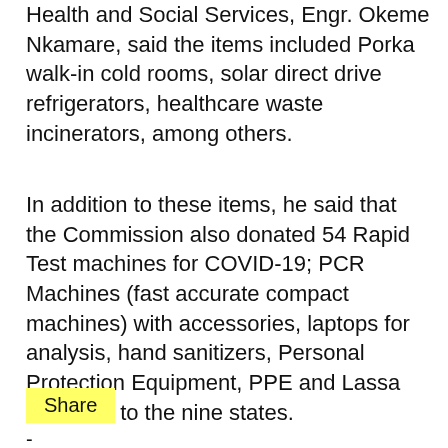Health and Social Services, Engr. Okeme Nkamare, said the items included Porka walk-in cold rooms, solar direct drive refrigerators, healthcare waste incinerators, among others.
In addition to these items, he said that the Commission also donated 54 Rapid Test machines for COVID-19; PCR Machines (fast accurate compact machines) with accessories, laptops for analysis, hand sanitizers, Personal Protection Equipment, PPE and Lassa fever kits to the nine states.
Share
-